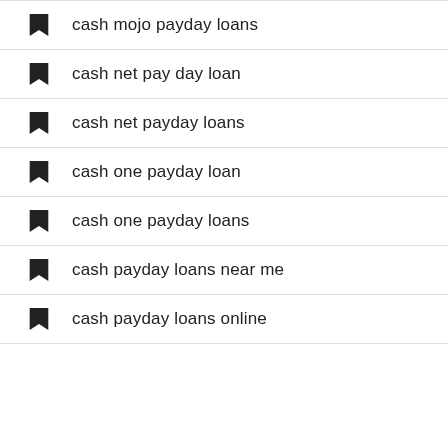cash mojo payday loans
cash net pay day loan
cash net payday loans
cash one payday loan
cash one payday loans
cash payday loans near me
cash payday loans online